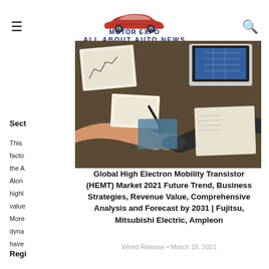Motor Expo - All About Auto News
[Figure (photo): Overhead view of people at a business meeting table with documents, charts, laptop, and handshake]
Global High Electron Mobility Transistor (HEMT) Market 2021 Future Trend, Business Strategies, Revenue Value, Comprehensive Analysis and Forecast by 2031 | Fujitsu, Mitsubishi Electric, Ampleon
Wired Release • March 18, 2021
Sect
This facto the A Alon highl value More dyna have
Regi